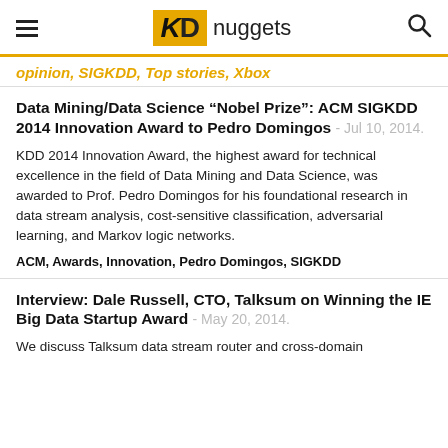KD nuggets
opinion, SIGKDD, Top stories, Xbox
Data Mining/Data Science “Nobel Prize”: ACM SIGKDD 2014 Innovation Award to Pedro Domingos - Jul 10, 2014.
KDD 2014 Innovation Award, the highest award for technical excellence in the field of Data Mining and Data Science, was awarded to Prof. Pedro Domingos for his foundational research in data stream analysis, cost-sensitive classification, adversarial learning, and Markov logic networks.
ACM, Awards, Innovation, Pedro Domingos, SIGKDD
Interview: Dale Russell, CTO, Talksum on Winning the IE Big Data Startup Award - May 20, 2014.
We discuss Talksum data stream router and cross-domain